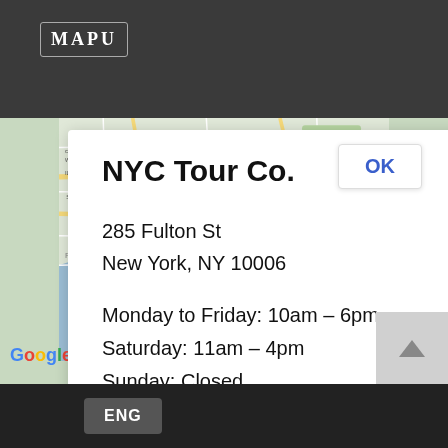MAPU
[Figure (map): Google Maps screenshot showing lower Manhattan, Williamsburg, and Brooklyn area with road network and landmarks]
NYC Tour Co.
285 Fulton St
New York, NY 10006
Monday to Friday: 10am – 6pm
Saturday: 11am – 4pm
Sunday: Closed
CALL US    EMAIL US
ENG